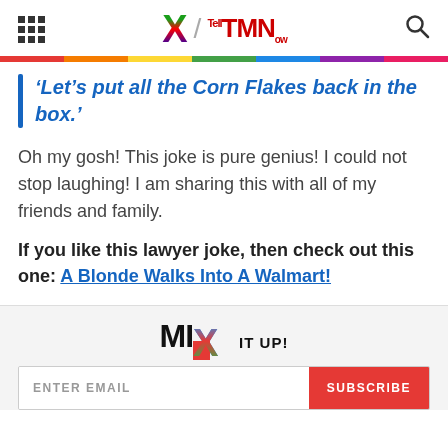X / TMN Tell Me Now
‘Let’s put all the Corn Flakes back in the box.’
Oh my gosh! This joke is pure genius! I could not stop laughing! I am sharing this with all of my friends and family.
If you like this lawyer joke, then check out this one: A Blonde Walks Into A Walmart!
[Figure (logo): MIX IT UP! newsletter logo in black, red, green, and blue colors]
ENTER EMAIL / SUBSCRIBE